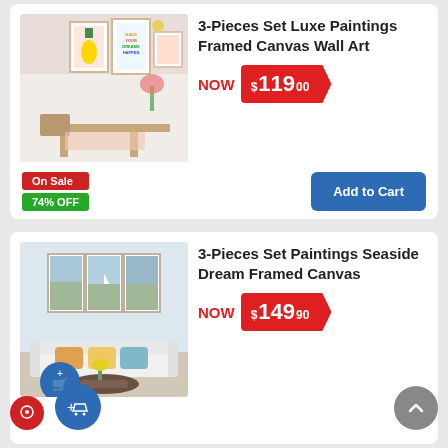[Figure (photo): Room scene with framed canvas wall art featuring pineapple and motivational prints above a dining table]
3-Pieces Set Luxe Paintings Framed Canvas Wall Art
NOW $119.00
On Sale
74% OFF
Add to Cart
[Figure (photo): Living room scene with framed canvas triptych showing a seaside landscape with sailboat]
3-Pieces Set Paintings Seaside Dream Framed Canvas
NOW $149.90